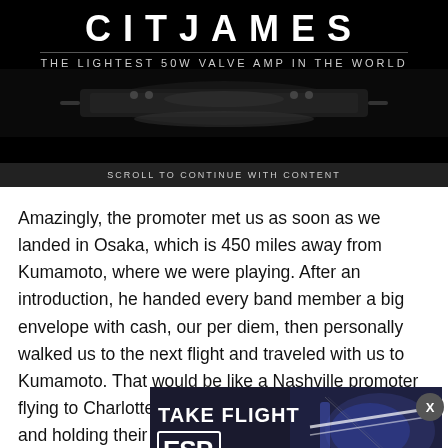[Figure (advertisement): Black background advertisement banner. Large white bold letters at top (partially visible), tagline 'THE LIGHTEST 50W VALVE AMP IN THE WORLD' below a horizontal rule, with a dark image of an amplifier. Below the image is a dark bar reading 'SCROLL TO CONTINUE WITH CONTENT'.]
Amazingly, the promoter met us as soon as we landed in Osaka, which is 450 miles away from Kumamoto, where we were playing. After an introduction, he handed every band member a big envelope with cash, our per diem, then personally walked us to the next flight and traveled with us to Kumamoto. That would be like a Nashville promoter flying to Charlotte, North Carolina, to meet an act and holding their hand to the gig. It's just not done here. B
[Figure (advertisement): ESP Guitars advertisement overlay. Dark background with white text 'TAKE FLIGHT' in large bold letters and 'ESP' logo in a white bordered box. A dark blue quilted guitar is visible on the right side.]
Gea